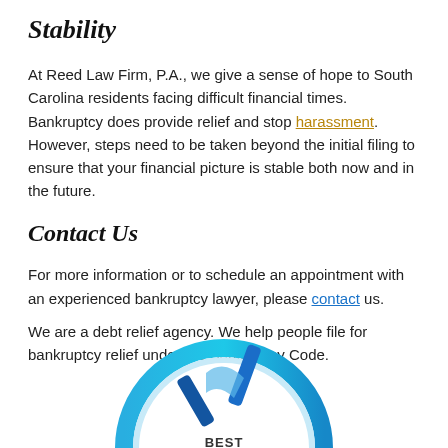Stability
At Reed Law Firm, P.A., we give a sense of hope to South Carolina residents facing difficult financial times. Bankruptcy does provide relief and stop harassment. However, steps need to be taken beyond the initial filing to ensure that your financial picture is stable both now and in the future.
Contact Us
For more information or to schedule an appointment with an experienced bankruptcy lawyer, please contact us.
We are a debt relief agency. We help people file for bankruptcy relief under the Bankruptcy Code.
[Figure (logo): Circular badge with blue gradient border, checkmark icon in blue, and 'BEST' text at the bottom inside the badge.]